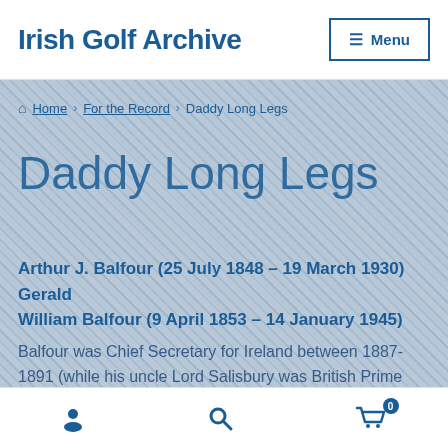Irish Golf Archive
Home › For the Record › Daddy Long Legs
Daddy Long Legs
Arthur J. Balfour (25 July 1848 – 19 March 1930) Gerald William Balfour (9 April 1853 – 14 January 1945)
Balfour was Chief Secretary for Ireland between 1887-1891 (while his uncle Lord Salisbury was British Prime Minister)
user | search | cart (0)